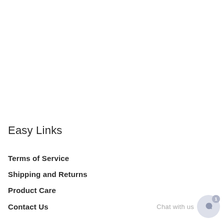Easy Links
Terms of Service
Shipping and Returns
Product Care
Contact Us
[Figure (other): Chat with us widget with phone icon and notification badge showing 1]